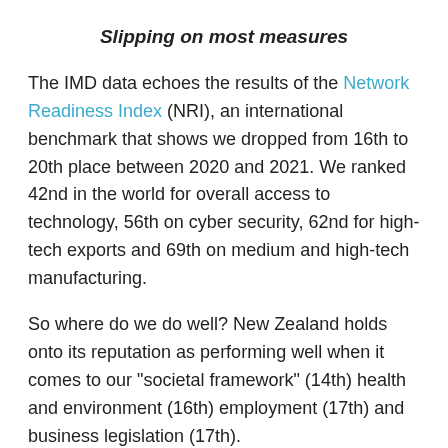Slipping on most measures
The IMD data echoes the results of the Network Readiness Index (NRI), an international benchmark that shows we dropped from 16th to 20th place between 2020 and 2021. We ranked 42nd in the world for overall access to technology, 56th on cyber security, 62nd for high-tech exports and 69th on medium and high-tech manufacturing.
So where do we do well? New Zealand holds onto its reputation as performing well when it comes to our "societal framework" (14th) health and environment (16th) employment (17th) and business legislation (17th).
International competitiveness indexes are seen as useful indicators of where to pursue trade, partnerships and